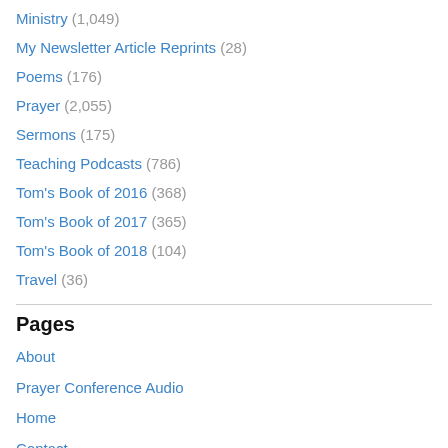Ministry (1,049)
My Newsletter Article Reprints (28)
Poems (176)
Prayer (2,055)
Sermons (175)
Teaching Podcasts (786)
Tom's Book of 2016 (368)
Tom's Book of 2017 (365)
Tom's Book of 2018 (104)
Travel (36)
Pages
About
Prayer Conference Audio
Home
Contact